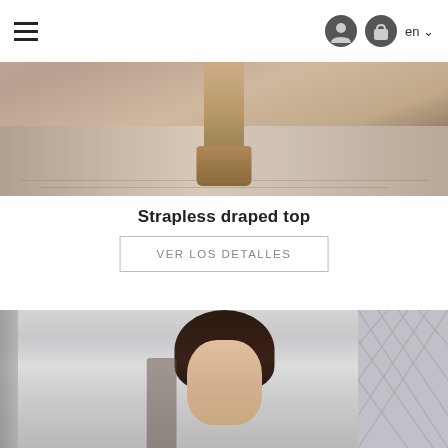menu icon, user icon, bag icon, en language selector
[Figure (photo): Close-up fashion photo showing lower body of a model wearing pink/nude lace outfit with ankle-strap high heel sandals on a wood floor runway]
Strapless draped top
VER LOS DETALLES
[Figure (photo): Fashion runway photo showing a model with dark hair walking toward camera in a light gray/blue background setting with lattice panels on the sides]